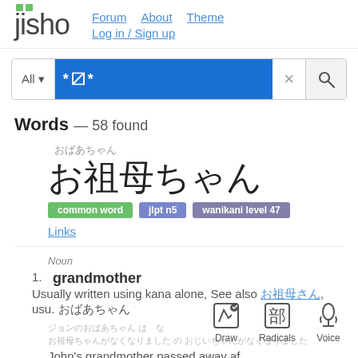jisho — Forum  About  Theme  Log in / Sign up
[Figure (screenshot): Search bar with 'All' dropdown and blue search input field showing '*〼*' with X and magnifying glass buttons]
Words — 58 found
おばあちゃん (reading)
お祖母ちゃん (kanji)
common word  jlpt n5  wanikani level 47
Links
Noun
1. grandmother  Usually written using kana alone, See also お祖母さん, usu. おばあちゃん
John's grandmother passed away af
Draw  Radicals  Voice